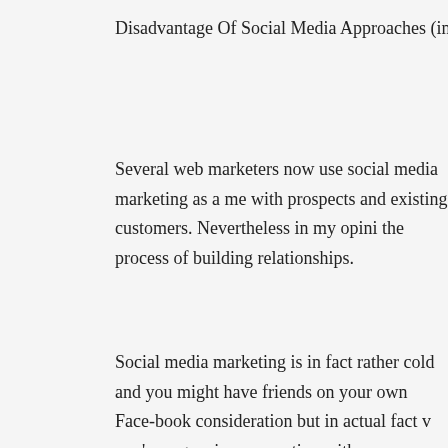Disadvantage Of Social Media Approaches (interruptions)
Several web marketers now use social media marketing as a me with prospects and existing customers. Nevertheless in my opini the process of building relationships.
Social media marketing is in fact rather cold and you might have friends on your own Face-book consideration but in actual fact v you've a genuine connection with.
Building solid relationships with your prospects is critical if you sh particularly high priced products. Thus I really believe you'll find media marketing as your main source of communication.
Adding an update that Person and guide team or twitter bill shou